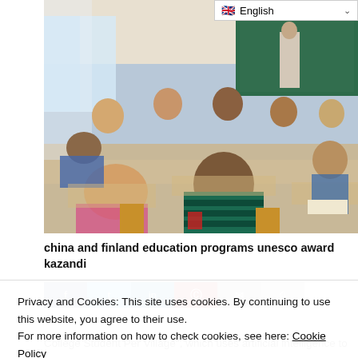[Figure (photo): Classroom scene showing children seated at desks from behind, facing a teacher standing near a green chalkboard.]
china and finland education programs unesco award kazandi
[Figure (screenshot): Social media share buttons: Facebook, Twitter, LinkedIn, Pinterest, Email, Print]
Privacy and Cookies: This site uses cookies. By continuing to use this website, you agree to their use.
For more information on how to check cookies, see here: Cookie Policy
College Student Per Village", which uses artificial intelligence to